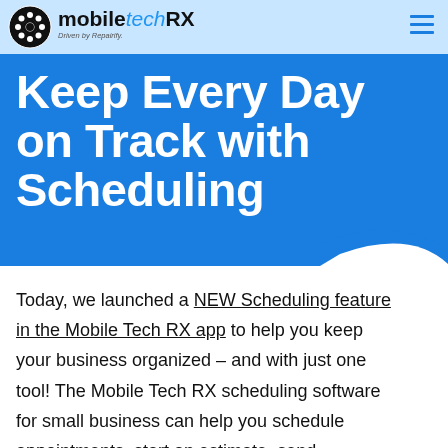mobiletechRX — Driven by Repairify.
Keep Every Day on Track with Scheduling
Today, we launched a NEW Scheduling feature in the Mobile Tech RX app to help you keep your business organized – and with just one tool! The Mobile Tech RX scheduling software for small business can help you schedule appointments, start an estimate, send appointment reminders to your customers,